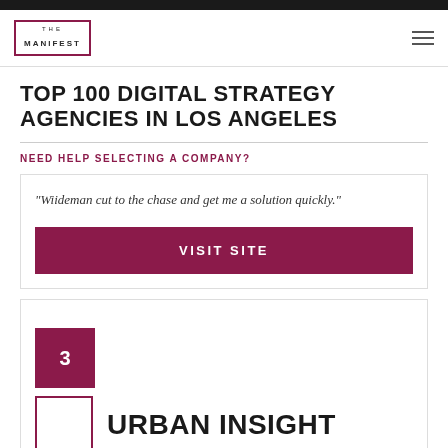THE MANIFEST
TOP 100 DIGITAL STRATEGY AGENCIES IN LOS ANGELES
NEED HELP SELECTING A COMPANY?
"Wiideman cut to the chase and get me a solution quickly."
VISIT SITE
3
URBAN INSIGHT